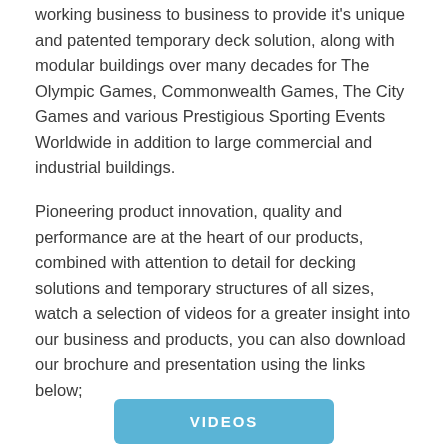working business to business to provide it's unique and patented temporary deck solution, along with modular buildings over many decades for The Olympic Games, Commonwealth Games, The City Games and various Prestigious Sporting Events Worldwide in addition to large commercial and industrial buildings.
Pioneering product innovation, quality and performance are at the heart of our products, combined with attention to detail for decking solutions and temporary structures of all sizes, watch a selection of videos for a greater insight into our business and products, you can also download our brochure and presentation using the links below;
VIDEOS